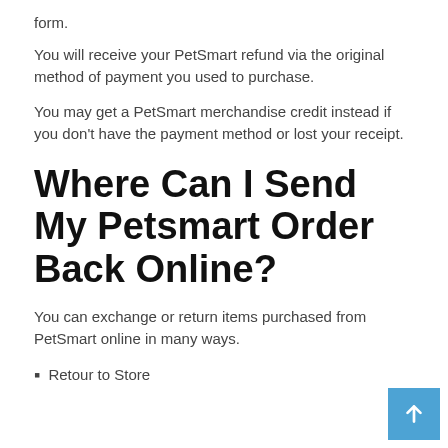form.
You will receive your PetSmart refund via the original method of payment you used to purchase.
You may get a PetSmart merchandise credit instead if you don't have the payment method or lost your receipt.
Where Can I Send My Petsmart Order Back Online?
You can exchange or return items purchased from PetSmart online in many ways.
Retour to Store